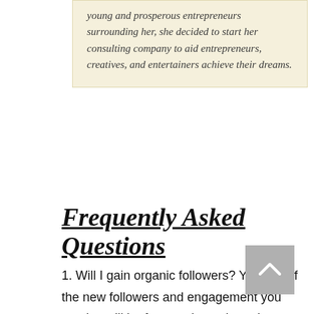young and prosperous entrepreneurs surrounding her, she decided to start her consulting company to aid entrepreneurs, creatives, and entertainers achieve their dreams.
Frequently Asked Questions
1. Will I gain organic followers? YES! all of the new followers and engagement you receive will be from real people and not bots!
2. How long is this process? The process of this package is about three months. it takes time to build